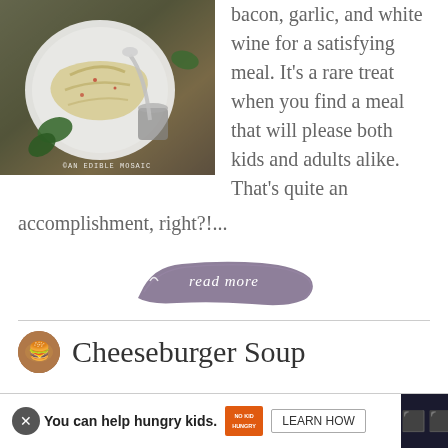[Figure (photo): Overhead shot of a pasta dish in a white bowl on a wooden table, with herbs and spices. Watermark reads '©An Edible Mosaic']
bacon, garlic, and white wine for a satisfying meal. It's a rare treat when you find a meal that will please both kids and adults alike. That's quite an accomplishment, right?!...
[Figure (other): Read more button with script/cursive text on a dark brushstroke background]
Cheeseburger Soup
You can help hungry kids. NO KID HUNGRY LEARN HOW